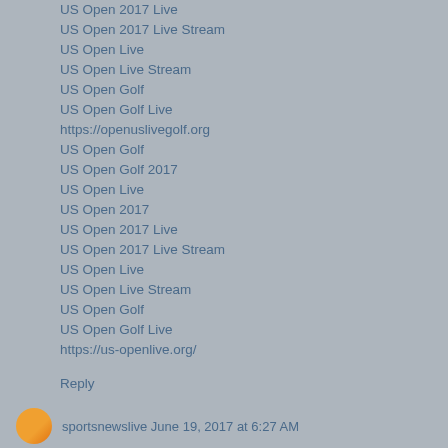US Open 2017 Live
US Open 2017 Live Stream
US Open Live
US Open Live Stream
US Open Golf
US Open Golf Live
https://openuslivegolf.org
US Open Golf
US Open Golf 2017
US Open Live
US Open 2017
US Open 2017 Live
US Open 2017 Live Stream
US Open Live
US Open Live Stream
US Open Golf
US Open Golf Live
https://us-openlive.org/
Reply
sportsnewslive  June 19, 2017 at 6:27 AM